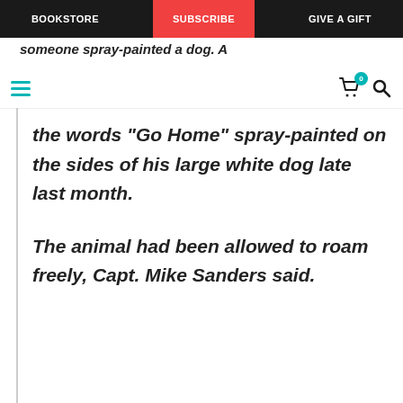BOOKSTORE | SUBSCRIBE | GIVE A GIFT
someone spray-painted a dog. A
the words “Go Home” spray-painted on the sides of his large white dog late last month.
The animal had been allowed to roam freely, Capt. Mike Sanders said.